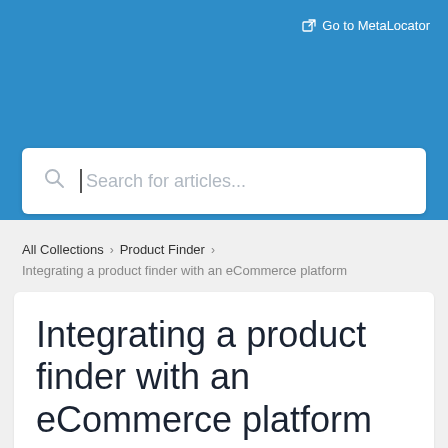Go to MetaLocator
Search for articles...
All Collections > Product Finder >
Integrating a product finder with an eCommerce platform
Integrating a product finder with an eCommerce platform